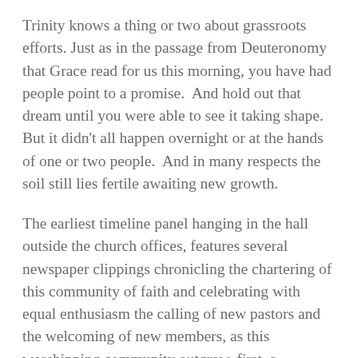Trinity knows a thing or two about grassroots efforts. Just as in the passage from Deuteronomy that Grace read for us this morning, you have had people point to a promise.  And hold out that dream until you were able to see it taking shape.   But it didn't all happen overnight or at the hands of one or two people.  And in many respects the soil still lies fertile awaiting new growth.
The earliest timeline panel hanging in the hall outside the church offices, features several newspaper clippings chronicling the chartering of this community of faith and celebrating with equal enthusiasm the calling of new pastors and the welcoming of new members, as this worshipping community outgrew, first, a member's home and then borrowed meeting space on the campus of Queens College.   I